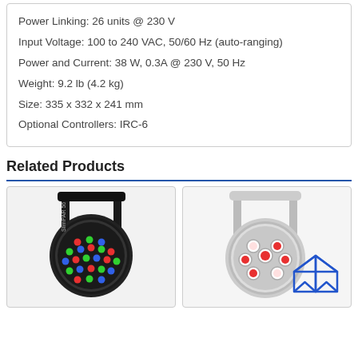Power Linking: 26 units @ 230 V
Input Voltage: 100 to 240 VAC, 50/60 Hz (auto-ranging)
Power and Current: 38 W, 0.3A @ 230 V, 50 Hz
Weight: 9.2 lb (4.2 kg)
Size: 335 x 332 x 241 mm
Optional Controllers: IRC-6
Related Products
[Figure (photo): Black SlimPAR 56 LED PAR light fixture with RGB LEDs visible]
[Figure (photo): Silver LED PAR light fixture with large red and white LED array, with a house/bookmark icon overlay]